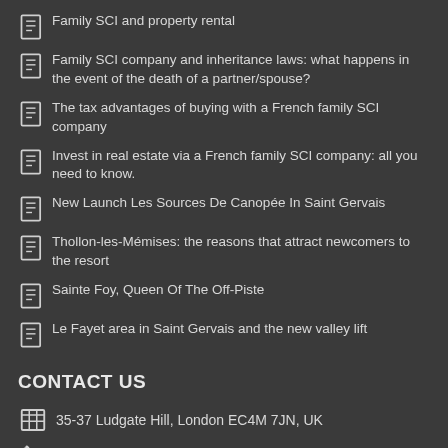Family SCI and property rental
Family SCI company and inheritance laws: what happens in the event of the death of a partner/spouse?
The tax advantages of buying with a French family SCI company
Invest in real estate via a French family SCI company: all you need to know.
New Launch Les Sources De Canopée In Saint Gervais
Thollon-les-Mémises: the reasons that attract newcomers to the resort
Sainte Foy, Queen Of The Off-Piste
Le Fayet area in Saint Gervais and the new valley lift
CONTACT US
35-37 Ludgate Hill, London EC4M 7JN, UK
Call +44 (0)20 8150 9123